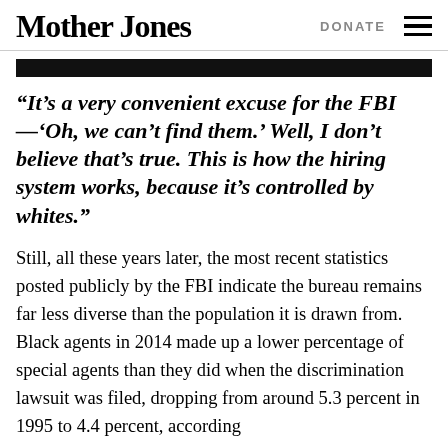Mother Jones
“It’s a very convenient excuse for the FBI—‘Oh, we can’t find them.’ Well, I don’t believe that’s true. This is how the hiring system works, because it’s controlled by whites.”
Still, all these years later, the most recent statistics posted publicly by the FBI indicate the bureau remains far less diverse than the population it is drawn from. Black agents in 2014 made up a lower percentage of special agents than they did when the discrimination lawsuit was filed, dropping from around 5.3 percent in 1995 to 4.4 percent, according